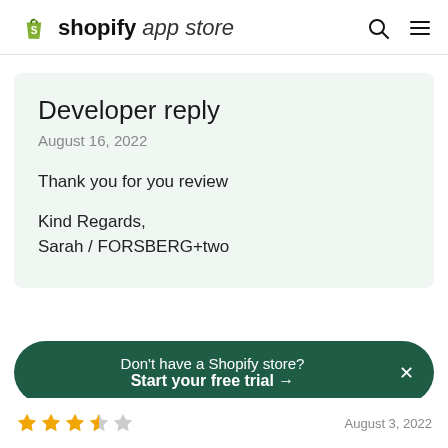shopify app store
Developer reply
August 16, 2022
Thank you for you review

Kind Regards,
Sarah / FORSBERG+two
Don't have a Shopify store? Start your free trial →
August 3, 2022